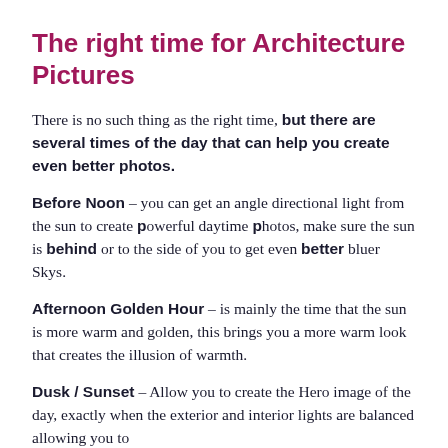The right time for Architecture Pictures
There is no such thing as the right time, but there are several times of the day that can help you create even better photos.
Before Noon – you can get an angle directional light from the sun to create powerful daytime photos, make sure the sun is behind or to the side of you to get even better bluer Skys.
Afternoon Golden Hour – is mainly the time that the sun is more warm and golden, this brings you a more warm look that creates the illusion of warmth.
Dusk / Sunset – Allow you to create the Hero image of the day, exactly when the exterior and interior lights are balanced allowing you to